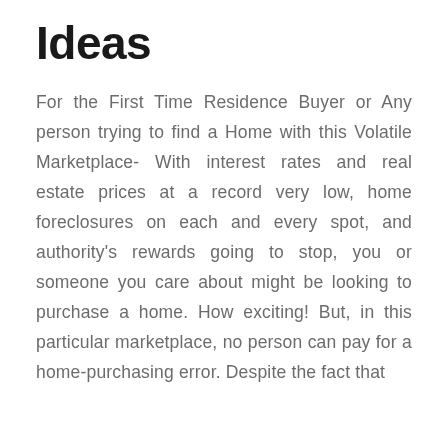Ideas
For the First Time Residence Buyer or Any person trying to find a Home with this Volatile Marketplace- With interest rates and real estate prices at a record very low, home foreclosures on each and every spot, and authority's rewards going to stop, you or someone you care about might be looking to purchase a home. How exciting! But, in this particular marketplace, no person can pay for a home-purchasing error. Despite the fact that